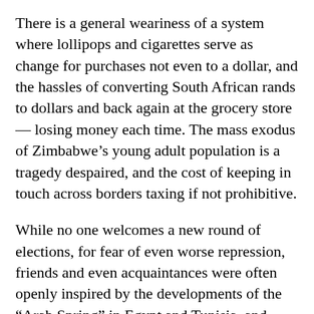There is a general weariness of a system where lollipops and cigarettes serve as change for purchases not even to a dollar, and the hassles of converting South African rands to dollars and back again at the grocery store — losing money each time. The mass exodus of Zimbabwe's young adult population is a tragedy despaired, and the cost of keeping in touch across borders taxing if not prohibitive.
While no one welcomes a new round of elections, for fear of even worse repression, friends and even acquaintances were often openly inspired by the developments of the “Arab Spring” in Egypt and Tunisia, and declared that “it’s time for Mugabe to go.” In the same breath, however, they often lamented that Zimbabweans are “too frightened” to build their own liberation square.
Unfortunately, this fear is justified. Mugabe’s record shows he is willing to unleash the power of a state